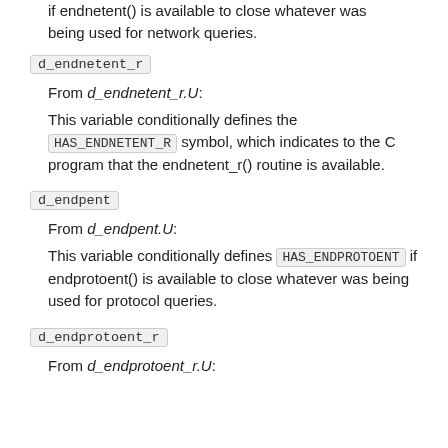if endnetent() is available to close whatever was being used for network queries.
d_endnetent_r
From d_endnetent_r.U:
This variable conditionally defines the HAS_ENDNETENT_R symbol, which indicates to the C program that the endnetent_r() routine is available.
d_endpent
From d_endpent.U:
This variable conditionally defines HAS_ENDPROTOENT if endprotoent() is available to close whatever was being used for protocol queries.
d_endprotoent_r
From d_endprotoent_r.U: